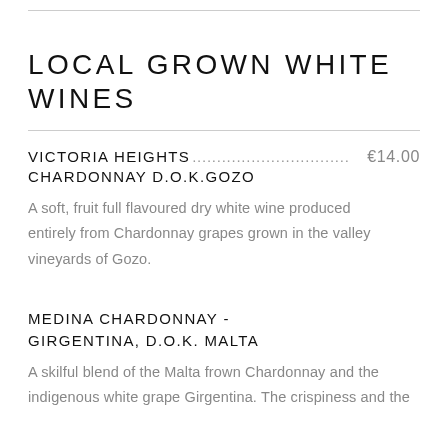LOCAL GROWN WHITE WINES
VICTORIA HEIGHTS.............................€14.00
CHARDONNAY D.O.K.GOZO
A soft, fruit full flavoured dry white wine produced entirely from Chardonnay grapes grown in the valley vineyards of Gozo.
MEDINA CHARDONNAY - GIRGENTINA, D.O.K. MALTA
A skilful blend of the Malta frown Chardonnay and the indigenous white grape Girgentina. The crispiness and the